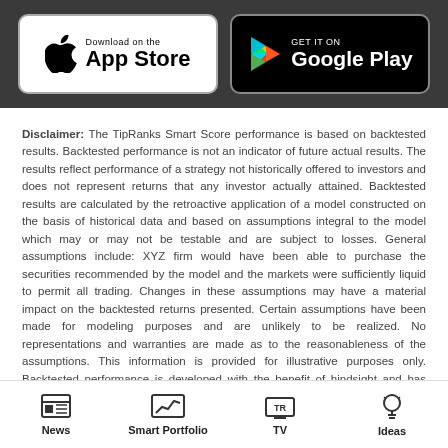[Figure (screenshot): App Store and Google Play download buttons on dark background]
Disclaimer: The TipRanks Smart Score performance is based on backtested results. Backtested performance is not an indicator of future actual results. The results reflect performance of a strategy not historically offered to investors and does not represent returns that any investor actually attained. Backtested results are calculated by the retroactive application of a model constructed on the basis of historical data and based on assumptions integral to the model which may or may not be testable and are subject to losses. General assumptions include: XYZ firm would have been able to purchase the securities recommended by the model and the markets were sufficiently liquid to permit all trading. Changes in these assumptions may have a material impact on the backtested returns presented. Certain assumptions have been made for modeling purposes and are unlikely to be realized. No representations and warranties are made as to the reasonableness of the assumptions. This information is provided for illustrative purposes only. Backtested performance is developed with the benefit of hindsight and has inherent limitations. Specifically, backtested
[Figure (screenshot): Bottom navigation bar with News, Smart Portfolio, TV, and Ideas icons]